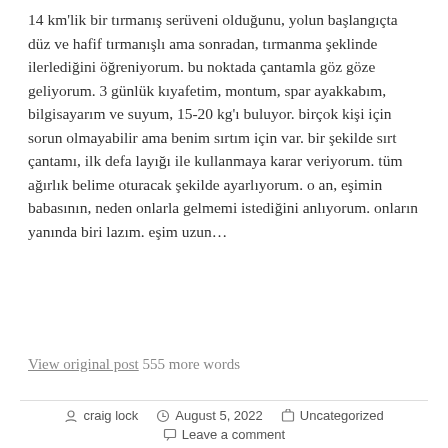14 km'lik bir tırmanış serüveni olduğunu, yolun başlangıçta düz ve hafif tırmanışlı ama sonradan, tırmanma şeklinde ilerlediğini öğreniyorum. bu noktada çantamla göz göze geliyorum. 3 günlük kıyafetim, montum, spar ayakkabım, bilgisayarım ve suyum, 15-20 kg'ı buluyor. birçok kişi için sorun olmayabilir ama benim sırtım için var. bir şekilde sırt çantamı, ilk defa layığı ile kullanmaya karar veriyorum. tüm ağırlık belime oturacak şekilde ayarlıyorum. o an, eşimin babasının, neden onlarla gelmemi istediğini anlıyorum. onların yanında biri lazım. eşim uzun...
View original post 555 more words
craig lock   August 5, 2022   Uncategorized   Leave a comment